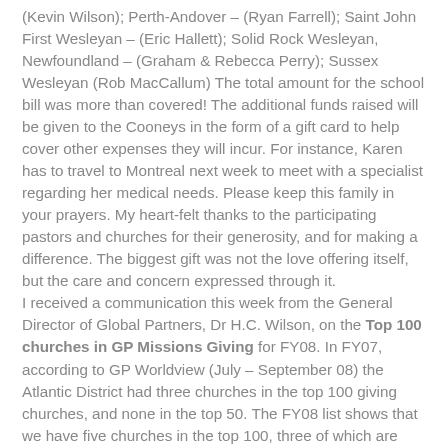(Kevin Wilson); Perth-Andover – (Ryan Farrell); Saint John First Wesleyan – (Eric Hallett); Solid Rock Wesleyan, Newfoundland – (Graham & Rebecca Perry); Sussex Wesleyan (Rob MacCallum) The total amount for the school bill was more than covered! The additional funds raised will be given to the Cooneys in the form of a gift card to help cover other expenses they will incur. For instance, Karen has to travel to Montreal next week to meet with a specialist regarding her medical needs. Please keep this family in your prayers. My heart-felt thanks to the participating pastors and churches for their generosity, and for making a difference. The biggest gift was not the love offering itself, but the care and concern expressed through it. I received a communication this week from the General Director of Global Partners, Dr H.C. Wilson, on the Top 100 churches in GP Missions Giving for FY08. In FY07, according to GP Worldview (July – September 08) the Atlantic District had three churches in the top 100 giving churches, and none in the top 50. The FY08 list shows that we have five churches in the top 100, three of which are brand new to the listing! In addition, three of the five churches are not only in the top 100, they are in the top 50! Congratulations! Here's the detail: Moncton Wesleyan (L.D. Buckingham) ranks 18th (last year's rank